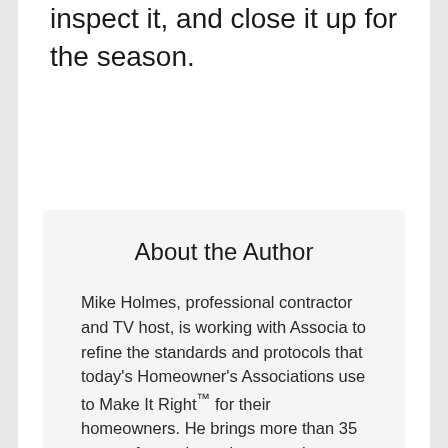inspect it, and close it up for the season.
About the Author
Mike Holmes, professional contractor and TV host, is working with Associa to refine the standards and protocols that today's Homeowner's Associations use to Make It Right™ for their homeowners. He brings more than 35 years of experience in renovations, construction, and inspection services, and is best known as the contractor and host of